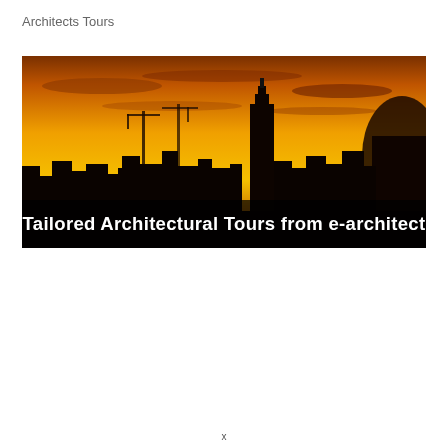Architects Tours
[Figure (photo): Cityscape silhouette at sunset with orange and yellow sky, construction cranes visible, tall skyscraper prominent. A dark banner overlaid at the bottom reads: Tailored Architectural Tours from e-architect]
x